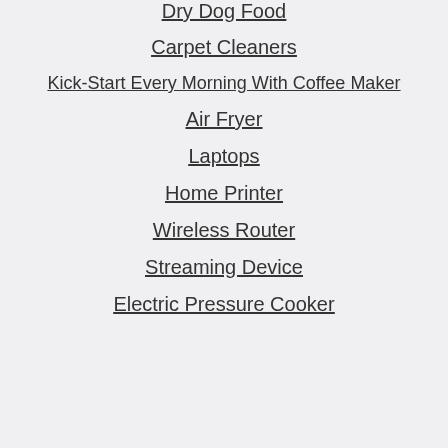Dry Dog Food
Carpet Cleaners
Kick-Start Every Morning With Coffee Maker
Air Fryer
Laptops
Home Printer
Wireless Router
Streaming Device
Electric Pressure Cooker